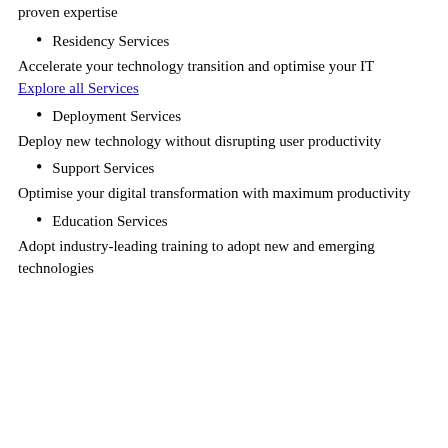proven expertise
Residency Services
Accelerate your technology transition and optimise your IT Explore all Services
Deployment Services
Deploy new technology without disrupting user productivity
Support Services
Optimise your digital transformation with maximum productivity
Education Services
Adopt industry-leading training to adopt new and emerging technologies